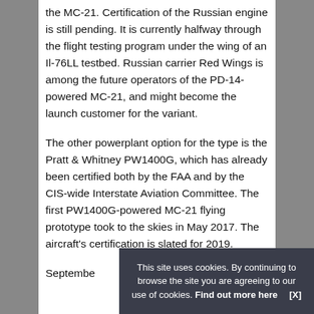the MC-21. Certification of the Russian engine is still pending. It is currently halfway through the flight testing program under the wing of an Il-76LL testbed. Russian carrier Red Wings is among the future operators of the PD-14-powered MC-21, and might become the launch customer for the variant.
The other powerplant option for the type is the Pratt & Whitney PW1400G, which has already been certified both by the FAA and by the CIS-wide Interstate Aviation Committee. The first PW1400G-powered MC-21 flying prototype took to the skies in May 2017. The aircraft's certification is slated for 2019.
Septembe...
This site uses cookies. By continuing to browse the site you are agreeing to our use of cookies. Find out more here [X]